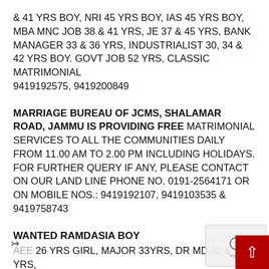& 41 YRS BOY, NRI 45 YRS BOY, IAS 45 YRS BOY, MBA MNC JOB 38 & 41 YRS, JE 37 & 45 YRS, BANK MANAGER 33 & 36 YRS, INDUSTRIALIST 30, 34 & 42 YRS BOY. GOVT JOB 52 YRS, CLASSIC MATRIMONIAL 9419192575, 9419200849
MARRIAGE BUREAU OF JCMS, SHALAMAR ROAD, JAMMU IS PROVIDING FREE MATRIMONIAL SERVICES TO ALL THE COMMUNITIES DAILY FROM 11.00 AM TO 2.00 PM INCLUDING HOLIDAYS. FOR FURTHER QUERY IF ANY, PLEASE CONTACT ON OUR LAND LINE PHONE NO. 0191-2564171 OR ON MOBILE NOS.: 9419192107, 9419103535 & 9419758743
WANTED RAMDASIA BOY
AEE 26 YRS GIRL, MAJOR 33YRS, DR MD 32 & 38 YRS, & 30YRS, GOVT JOB. 26 & 29 YRS, GAZETTED OFFICER...